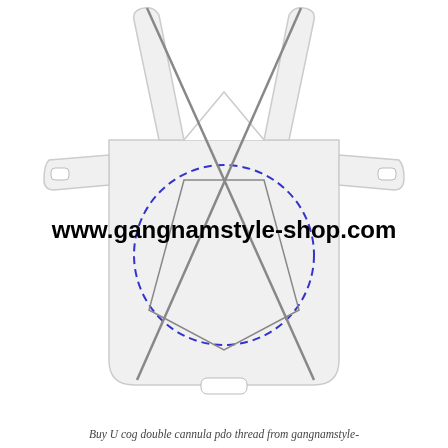[Figure (photo): U cog double cannula PDO thread medical device shown in white plastic packaging/holder shaped like a house/bunny silhouette. Two long needles cross diagonally in an X pattern through the device. A blue dashed circle is drawn on the device face. A bold black watermark 'www.gangnamstyle-shop.com' overlays the middle of the image.]
Buy U cog double cannula pdo thread from gangnamstyle-